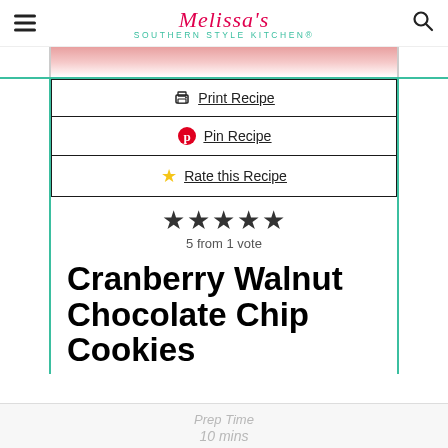Melissa's Southern Style Kitchen®
[Figure (photo): Partial view of cranberry walnut chocolate chip cookies on a decorative red floral surface]
🖨 Print Recipe
📌 Pin Recipe
⭐ Rate this Recipe
★★★★★ 5 from 1 vote
Cranberry Walnut Chocolate Chip Cookies
Prep Time
10 mins